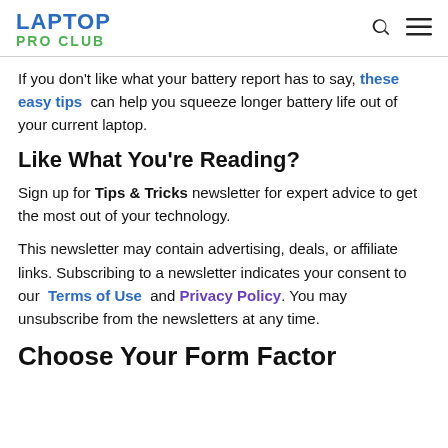LAPTOP PRO CLUB
If you don't like what your battery report has to say, these easy tips can help you squeeze longer battery life out of your current laptop.
Like What You're Reading?
Sign up for Tips & Tricks newsletter for expert advice to get the most out of your technology.
This newsletter may contain advertising, deals, or affiliate links. Subscribing to a newsletter indicates your consent to our Terms of Use and Privacy Policy. You may unsubscribe from the newsletters at any time.
Choose Your Form Factor